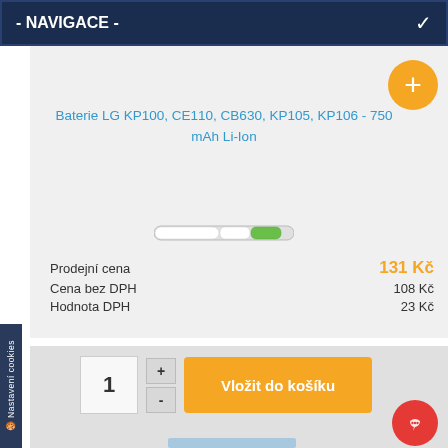- NAVIGACE -
Baterie LG KP100, CE110, CB630, KP105, KP106 - 750 mAh Li-Ion
[Figure (other): Horizontal segmented progress/stock availability indicator bar with white and green segments]
Prodejní cena 131 Kč
Cena bez DPH 108 Kč
Hodnota DPH 23 Kč
Nastavení cookies
1
Vložit do košíku